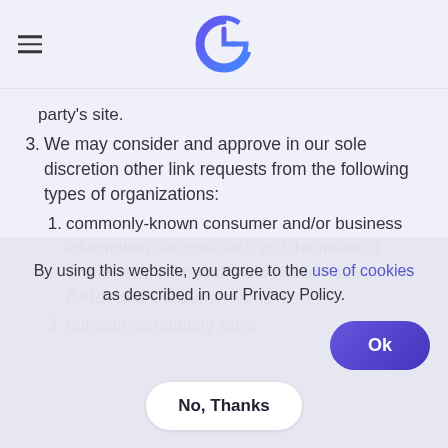[Logo: G] [Hamburger menu]
party's site.
3. We may consider and approve in our sole discretion other link requests from the following types of organizations:
1. commonly-known consumer and/or business information sources such as Chambers of Commerce, American Automobile Association, AARP and Consumers Union;
2. dot.com community sites;
By using this website, you agree to the use of cookies as described in our Privacy Policy.